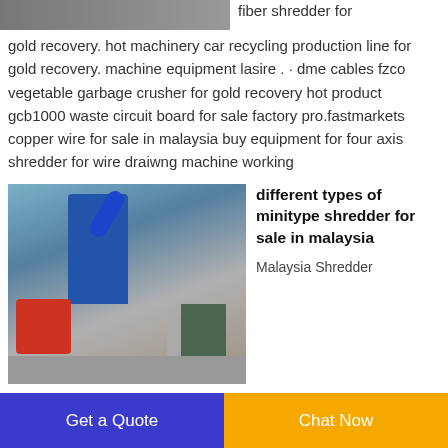[Figure (photo): Industrial machinery photo cropped at top, partial image visible]
fiber shredder for gold recovery. hot machinery car recycling production line for gold recovery. machine equipment lasire . · dme cables fzco vegetable garbage crusher for gold recovery hot product gcb1000 waste circuit board for sale factory pro.fastmarkets copper wire for sale in malaysia buy equipment for four axis shredder for wire draiwng machine working
[Figure (photo): Industrial shredder/recycling machinery in a factory setting with blue industrial machine, red component, green cabinet, and worker visible]
different types of minitype shredder for sale in malaysia
Malaysia Shredder
Get a Quote
Chat Now